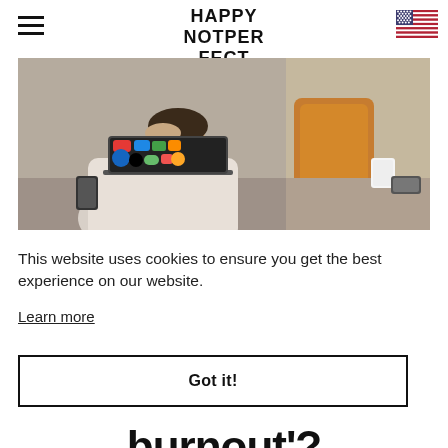HAPPY NOTPERFECT
[Figure (photo): Split photo: left side shows a stressed young man with hand on forehead leaning over a laptop covered in stickers; right side shows a blurred view of an orange chair and a cup on a table]
This website uses cookies to ensure you get the best experience on our website.
Learn more
Got it!
burnout'?